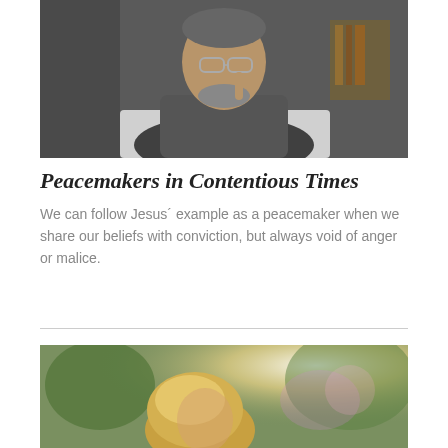[Figure (photo): Middle-aged man with glasses and beard, holding his finger up to his chin thoughtfully, sitting in front of a laptop in a home or office setting]
Peacemakers in Contentious Times
We can follow Jesus´ example as a peacemaker when we share our beliefs with conviction, but always void of anger or malice.
[Figure (photo): Young blonde woman or girl outdoors in bright sunlight with trees in background, head slightly bowed]